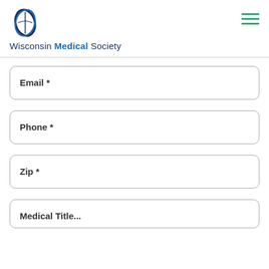Wisconsin Medical Society
Email *
Phone *
Zip *
Medical Title...